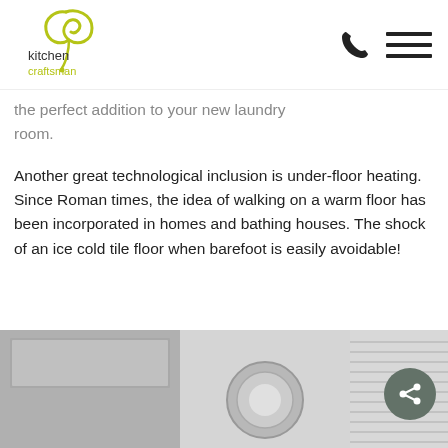Kitchen Craftsman — logo and navigation
the perfect addition to your new laundry room.
Another great technological inclusion is under-floor heating. Since Roman times, the idea of walking on a warm floor has been incorporated in homes and bathing houses. The shock of an ice cold tile floor when barefoot is easily avoidable!
[Figure (photo): Black and white photo of a laundry room with cabinets and washing machine]